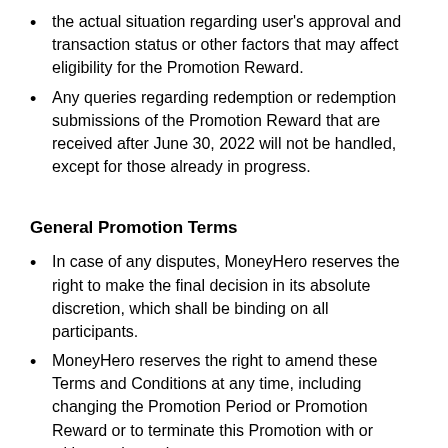the actual situation regarding user's approval and transaction status or other factors that may affect eligibility for the Promotion Reward.
Any queries regarding redemption or redemption submissions of the Promotion Reward that are received after June 30, 2022 will not be handled, except for those already in progress.
General Promotion Terms
In case of any disputes, MoneyHero reserves the right to make the final decision in its absolute discretion, which shall be binding on all participants.
MoneyHero reserves the right to amend these Terms and Conditions at any time, including changing the Promotion Period or Promotion Reward or to terminate this Promotion with or without prior notice.